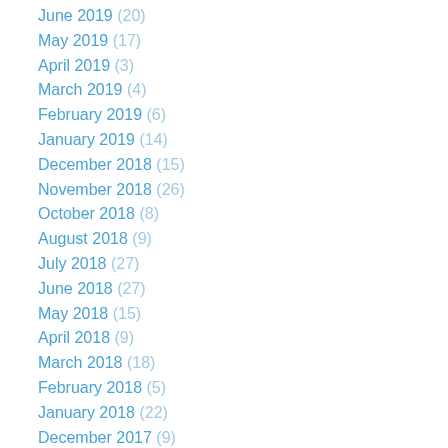June 2019 (20)
May 2019 (17)
April 2019 (3)
March 2019 (4)
February 2019 (6)
January 2019 (14)
December 2018 (15)
November 2018 (26)
October 2018 (8)
August 2018 (9)
July 2018 (27)
June 2018 (27)
May 2018 (15)
April 2018 (9)
March 2018 (18)
February 2018 (5)
January 2018 (22)
December 2017 (9)
November 2017 (14)
October 2017 (8)